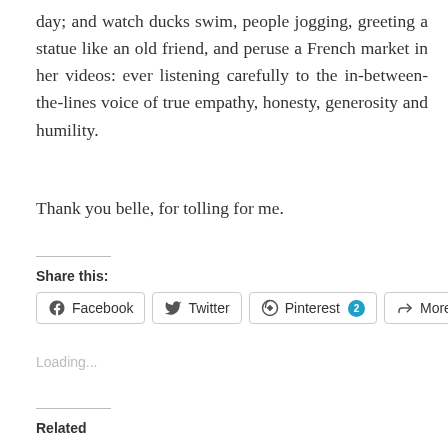day; and watch ducks swim, people jogging, greeting a statue like an old friend, and peruse a French market in her videos: ever listening carefully to the in-between-the-lines voice of true empathy, honesty, generosity and humility.
Thank you belle, for tolling for me.
Share this:
[Figure (other): Social share buttons: Facebook, Twitter, Pinterest (with badge 2), More]
Loading...
Related